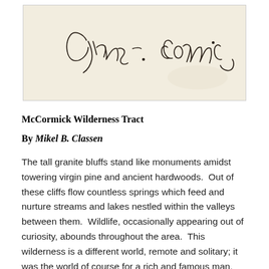[Figure (photo): A handwritten cursive signature reading 'Cyrus H. McCormick' on a cream/off-white background.]
McCormick Wilderness Tract
By Mikel B. Classen
The tall granite bluffs stand like monuments amidst towering virgin pine and ancient hardwoods.  Out of these cliffs flow countless springs which feed and nurture streams and lakes nestled within the valleys between them.  Wildlife, occasionally appearing out of curiosity, abounds throughout the area.  This wilderness is a different world, remote and solitary; it was the world of course for a rich and famous man, Cyrus H...